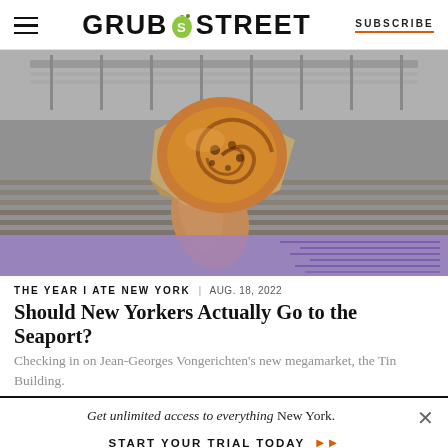GRUB STREET | SUBSCRIBE
[Figure (photo): A hand holding a spiral pastry (pain aux raisins or cinnamon roll) wrapped in brown paper, photographed outdoors against a grey concrete/wood surface background. The bottom portion has a purple/lavender translucent overlay.]
THE YEAR I ATE NEW YORK | AUG. 18, 2022
Should New Yorkers Actually Go to the Seaport?
Checking in on Jean-Georges Vongerichten's new megamarket, the Tin Building.
Get unlimited access to everything New York.
START YOUR TRIAL TODAY ▶▶